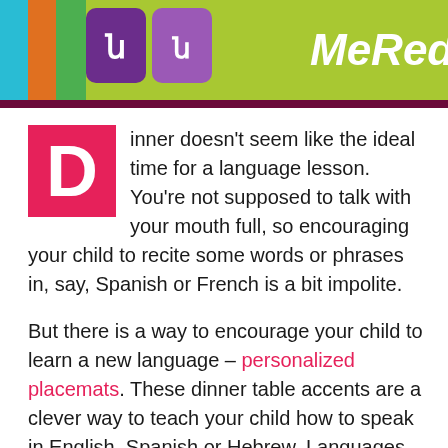[Figure (illustration): Colorful banner image at the top of the page showing colorful rectangles in cyan, orange, green, and purple with white letter icons and partial text 'MeRedi' on a lime green background]
Dinner doesn't seem like the ideal time for a language lesson. You're not supposed to talk with your mouth full, so encouraging your child to recite some words or phrases in, say, Spanish or French is a bit impolite.
But there is a way to encourage your child to learn a new language – personalized placemats. These dinner table accents are a clever way to teach your child how to speak in English, Spanish or Hebrew. Languages available by special request include Korean, Greek, Italian, Russian, Farsi and more.